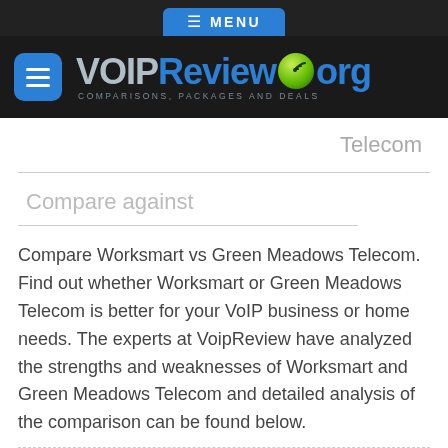≡ MENU
[Figure (logo): VOIPReview.org logo with hamburger menu icon, tagline: COMPARISONS, PACKAGES AND DEALS]
Telecom
Compare against
Compare Worksmart vs Green Meadows Telecom. Find out whether Worksmart or Green Meadows Telecom is better for your VoIP business or home needs. The experts at VoipReview have analyzed the strengths and weaknesses of Worksmart and Green Meadows Telecom and detailed analysis of the comparison can be found below.